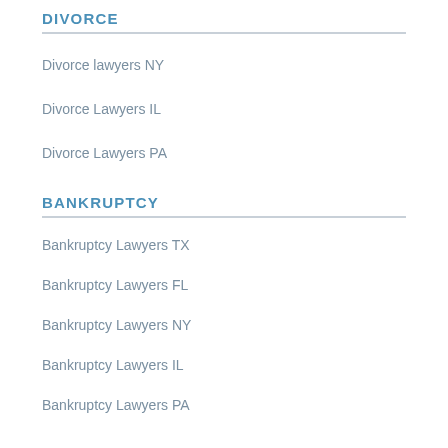DIVORCE
Divorce lawyers NY
Divorce Lawyers IL
Divorce Lawyers PA
BANKRUPTCY
Bankruptcy Lawyers TX
Bankruptcy Lawyers FL
Bankruptcy Lawyers NY
Bankruptcy Lawyers IL
Bankruptcy Lawyers PA